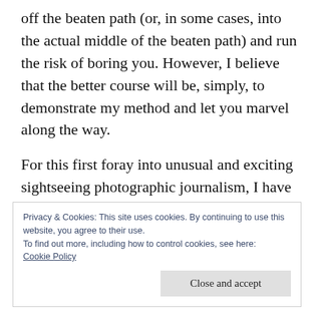off the beaten path (or, in some cases, into the actual middle of the beaten path) and run the risk of boring you. However, I believe that the better course will be, simply, to demonstrate my method and let you marvel along the way.
For this first foray into unusual and exciting sightseeing photographic journalism, I have chosen as my subject location the beautiful and exciting city of Seattle, Washington...
Privacy & Cookies: This site uses cookies. By continuing to use this website, you agree to their use.
To find out more, including how to control cookies, see here:
Cookie Policy